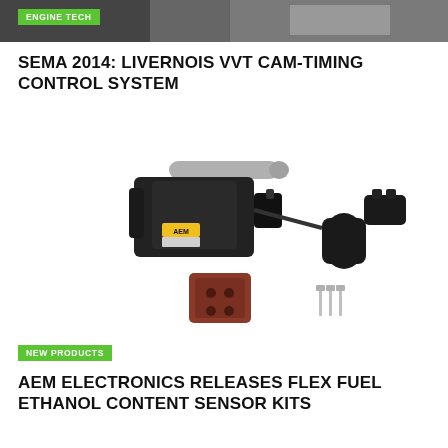[Figure (photo): Top banner photo showing engine tech, dark background, partial image]
ENGINE TECH
SEMA 2014: LIVERNOIS VVT CAM-TIMING CONTROL SYSTEM
[Figure (photo): AEM Electronics Flex Fuel Ethanol Content Sensor kit components: inline sensor assembly with gray tube, connectors, brown connector block, metal pins]
NEW PRODUCTS
AEM ELECTRONICS RELEASES FLEX FUEL ETHANOL CONTENT SENSOR KITS